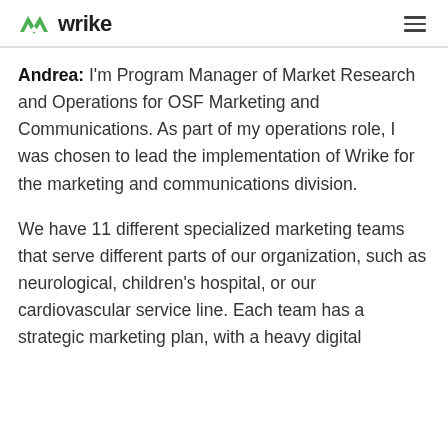wrike
Andrea: I'm Program Manager of Market Research and Operations for OSF Marketing and Communications. As part of my operations role, I was chosen to lead the implementation of Wrike for the marketing and communications division.
We have 11 different specialized marketing teams that serve different parts of our organization, such as neurological, children's hospital, or our cardiovascular service line. Each team has a strategic marketing plan, with a heavy digital...